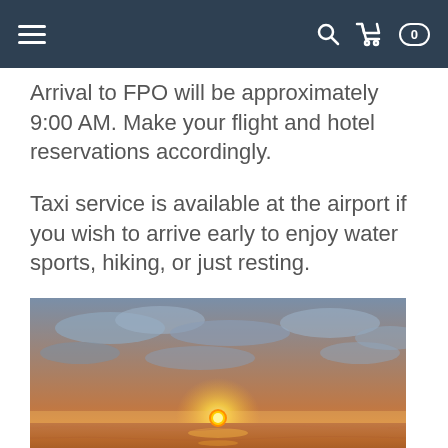Navigation bar with hamburger menu, search icon, cart icon, and badge showing 0
Arrival to FPO will be approximately 9:00 AM. Make your flight and hotel reservations accordingly.
Taxi service is available at the airport if you wish to arrive early to enjoy water sports, hiking, or just resting.
[Figure (photo): A beach sunset photograph showing the sun just above the horizon over the ocean, with warm orange and golden tones near the horizon, wispy clouds in a blue-grey sky, and gentle waves on the sandy beach in the foreground.]